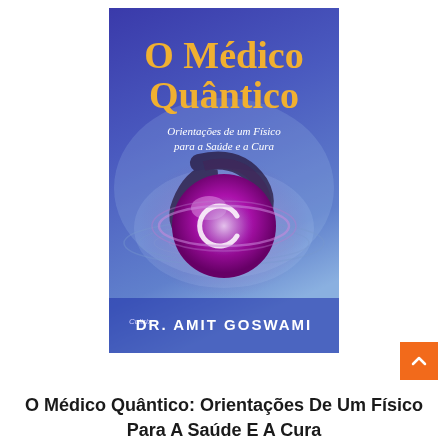[Figure (illustration): Book cover of 'O Médico Quântico' by Dr. Amit Goswami. Blue-purple gradient background with large golden title text 'O Médico Quântico', subtitle 'Orientações de um Físico para a Saúde e a Cura' in white italic, a glowing purple/magenta abstract sphere with spiral rings in the center, and 'DR. AMIT GOSWAMI' in white at the bottom with 'Cultrix' publisher logo.]
O Médico Quântico: Orientações De Um Físico Para A Saúde E A Cura